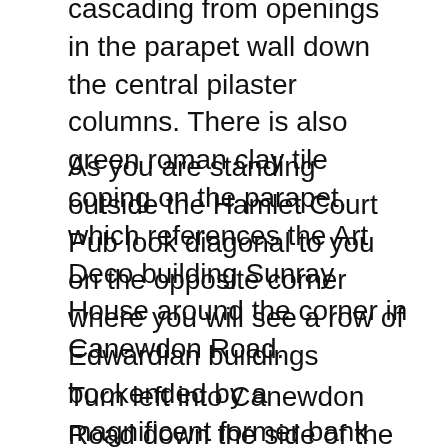cascading from openings in the parapet wall down the central pilaster columns. There is also green roman clay tile coping on the parapet, which references the Art Deco building Sunray House around the corner in Canewdon Road.
As you are standing outside the Hamlet Court Pub look diagonal to you on the opposite corner where you will see a row of Edwardian buildings bookended by a magnificent former bank building built in a style known as 'bank baroque'. Featuring a turret crowned by a cupola this is an exuberant building demonstrating the common practice of banks in the Edwardian period creating ostentatious and highly decorated buildings.
Turn left into Canewdon Road down the side of the Hamlet Court pub and walk to Preston Road. You will notice the road is lined with elm trees, some of the first and last remaining original features of this Edwardian